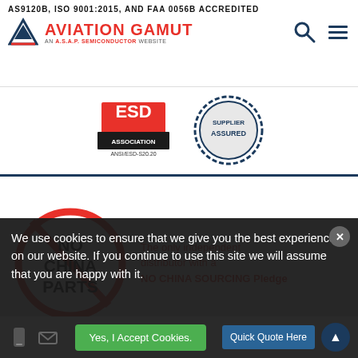AS9120B, ISO 9001:2015, AND FAA 0056B ACCREDITED — Aviation Gamut, An A.S.A.P Semiconductor Website
[Figure (logo): ESD Association ANSI/ESD-S20.20 badge and Supplier Assured seal]
[Figure (infographic): No China Parts circle-slash logo with text: The only independent distributor with a NO CHINA SOURCING Pledge]
All orders are fulfilled in the USA.
All shipments must comply with U.S.A export laws.
No exceptions.
We use cookies to ensure that we give you the best experience on our website. If you continue to use this site we will assume that you are happy with it.